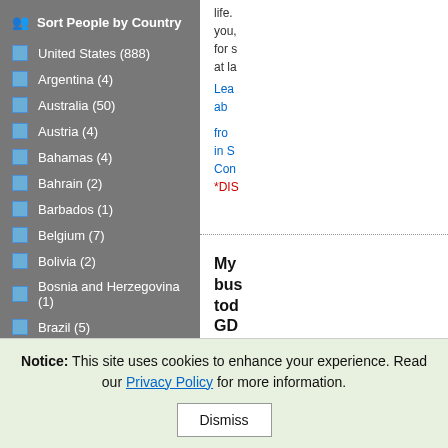Sort People by Country
United States (888)
Argentina (4)
Australia (50)
Austria (4)
Bahamas (4)
Bahrain (2)
Barbados (1)
Belgium (7)
Bolivia (2)
Bosnia and Herzegovina (1)
Brazil (5)
Brunei Darussalam (2)
life. you, for s at la
Lea ab
fro in S Con *DIS
My bus tod GD
Conn Vien mone New
Notice: This site uses cookies to enhance your experience. Read our Privacy Policy for more information.
Dismiss